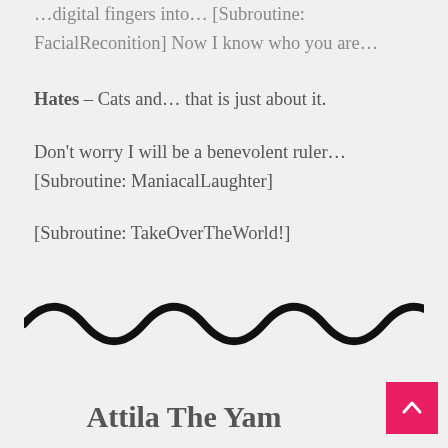...digital fingers into… [Subroutine: FacialReconition] Now I know who you are…
Hates – Cats and… that is just about it.
Don't worry I will be a benevolent ruler… [Subroutine: ManiacalLaughter]
[Subroutine: TakeOverTheWorld!]
[Figure (illustration): A wavy decorative divider line drawn in black]
Attila The Yam